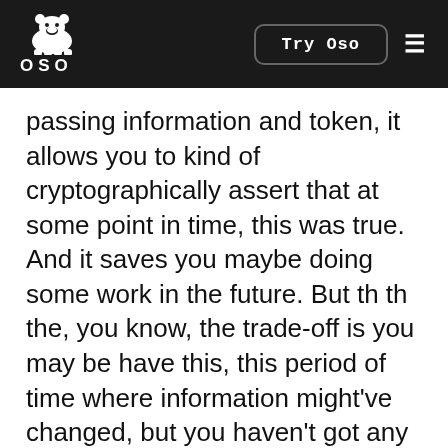OSO — Try Oso
passing information and token, it allows you to kind of cryptographically assert that at some point in time, this was true. And it saves you maybe doing some work in the future. But th th the, you know, the trade-off is you may be have this, this period of time where information might've changed, but you haven't got any way of checking that, okay. Yeah, this is, this is related to as well, like